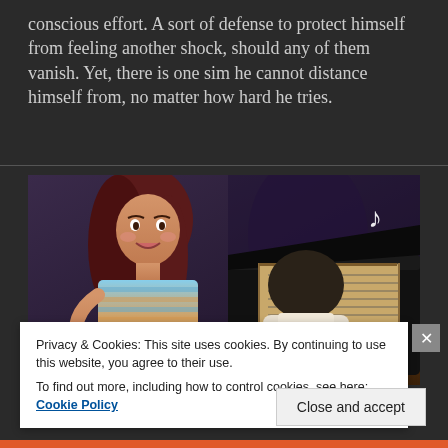conscious effort. A sort of defense to protect himself from feeling another shock, should any of them vanish. Yet, there is one sim he cannot distance himself from, no matter how hard he tries.
[Figure (screenshot): Screenshot from The Sims video game showing a woman with dark red hair in a striped top and a man seated at a piano with sheet music open, music note icon visible]
Privacy & Cookies: This site uses cookies. By continuing to use this website, you agree to their use.
To find out more, including how to control cookies, see here: Cookie Policy
Close and accept